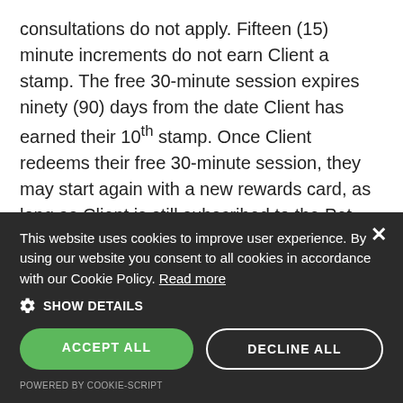consultations do not apply. Fifteen (15) minute increments do not earn Client a stamp. The free 30-minute session expires ninety (90) days from the date Client has earned their 10th stamp. Once Client redeems their free 30-minute session, they may start again with a new rewards card, as long as Client is still subscribed to the Pet Lover's Passion email list. Client may redeem their free 30-minute session via online or in-person. If redeeming as an in-home session, Client must schedule for a minimum of 1 hour, meaning Client must either pay for the extra 30 minutes or
This website uses cookies to improve user experience. By using our website you consent to all cookies in accordance with our Cookie Policy. Read more
SHOW DETAILS
ACCEPT ALL
DECLINE ALL
POWERED BY COOKIE-SCRIPT